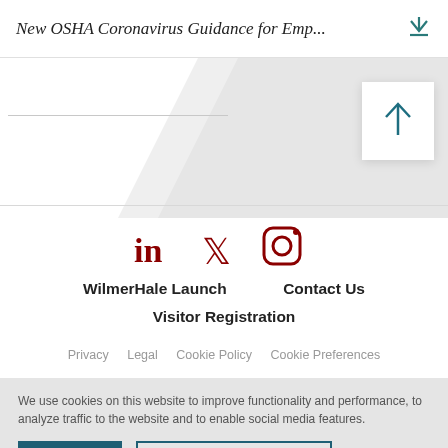New OSHA Coronavirus Guidance for Emp...
[Figure (screenshot): Decorative diagonal background graphic with light gray gradient]
[Figure (illustration): Scroll-to-top button with upward arrow icon in teal]
[Figure (illustration): Social media icons: LinkedIn, Twitter, Instagram in dark red/maroon]
WilmerHale Launch   Contact Us
Visitor Registration
Privacy   Legal   Cookie Policy   Cookie Preferences
We use cookies on this website to improve functionality and performance, to analyze traffic to the website and to enable social media features.
ACCEPT   COOKIE PREFERENCES